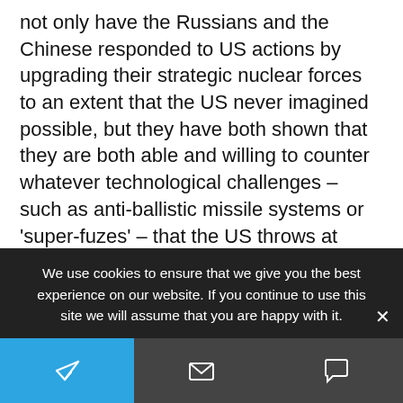not only have the Russians and the Chinese responded to US actions by upgrading their strategic nuclear forces to an extent that the US never imagined possible, but they have both shown that they are both able and willing to counter whatever technological challenges – such as anti-ballistic missile systems or 'super-fuzes' – that the US throws at them.
In the meantime multiple media reports speak of the Russians and the Chinese staying fully abreast of US hypersonic warhead programmes,
We use cookies to ensure that we give you the best experience on our website. If you continue to use this site we will assume that you are happy with it.